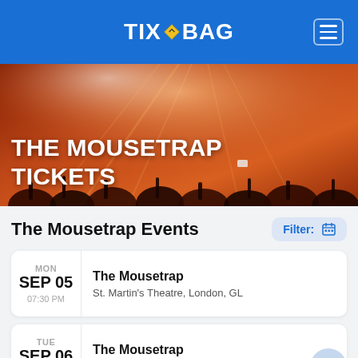TIXBAG
THE MOUSETRAP TICKETS
The Mousetrap Events
MON SEP 05 07:30 PM — The Mousetrap, St. Martin's Theatre, London, GL
TUE SEP 06 03:00 PM — The Mousetrap, St. Martin's Theatre, London, GL